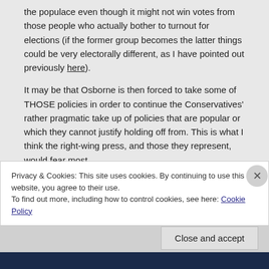the populace even though it might not win votes from those people who actually bother to turnout for elections (if the former group becomes the latter things could be very electorally different, as I have pointed out previously here).
It may be that Osborne is then forced to take some of THOSE policies in order to continue the Conservatives' rather pragmatic take up of policies that are popular or which they cannot justify holding off from. This is what I think the right-wing press, and those they represent, would fear most.
Privacy & Cookies: This site uses cookies. By continuing to use this website, you agree to their use.
To find out more, including how to control cookies, see here: Cookie Policy